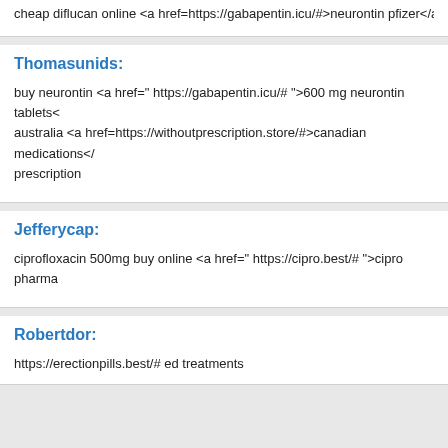cheap diflucan online <a href=https://gabapentin.icu/#>neurontin pfizer</a>
Thomasunids:
buy neurontin <a href=" https://gabapentin.icu/# ">600 mg neurontin tablets< australia <a href=https://withoutprescription.store/#>canadian medications</ prescription
Jefferycap:
ciprofloxacin 500mg buy online <a href=" https://cipro.best/# ">cipro pharma
Robertdor:
https://erectionpills.best/# ed treatments